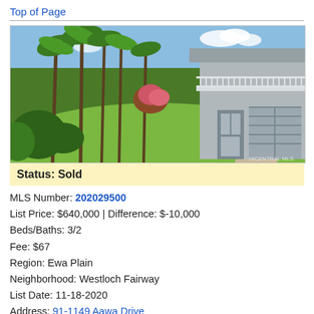Top of Page
[Figure (photo): Exterior photo of a tropical residential property with palm trees, lush greenery, a two-story house with white balcony railing, garage doors, and a manicured lawn in Hawaii.]
Status: Sold
MLS Number: 202029500
List Price: $640,000 | Difference: $-10,000
Beds/Baths: 3/2
Fee: $67
Region: Ewa Plain
Neighborhood: Westloch Fairway
List Date: 11-18-2020
Address: 91-1149 Aawa Drive